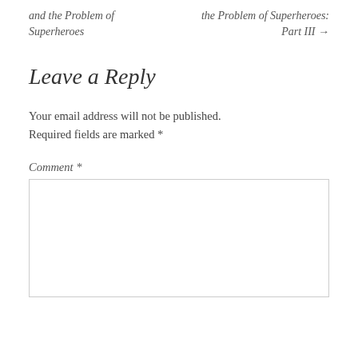and the Problem of Superheroes
the Problem of Superheroes: Part III →
Leave a Reply
Your email address will not be published. Required fields are marked *
Comment *